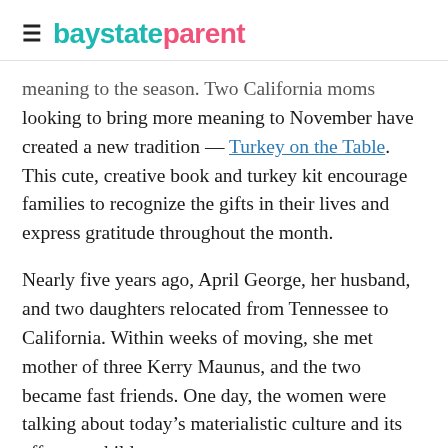baystateparent
meaning to the season. Two California moms looking to bring more meaning to November have created a new tradition — Turkey on the Table. This cute, creative book and turkey kit encourage families to recognize the gifts in their lives and express gratitude throughout the month.
Nearly five years ago, April George, her husband, and two daughters relocated from Tennessee to California. Within weeks of moving, she met mother of three Kerry Maunus, and the two became fast friends. One day, the women were talking about today's materialistic culture and its effect on children.
“Everything is so in-your-face about what kids